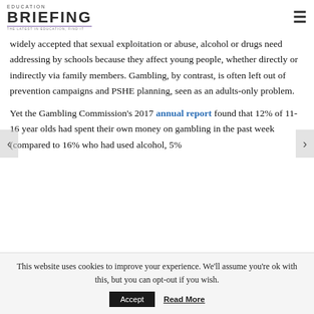EDUCATION BRIEFING — THE LATEST IN EDUCATION, FIND IT
widely accepted that sexual exploitation or abuse, alcohol or drugs need addressing by schools because they affect young people, whether directly or indirectly via family members. Gambling, by contrast, is often left out of prevention campaigns and PSHE planning, seen as an adults-only problem.
Yet the Gambling Commission's 2017 annual report found that 12% of 11-16 year olds had spent their own money on gambling in the past week (compared to 16% who had used alcohol, 5%
This website uses cookies to improve your experience. We'll assume you're ok with this, but you can opt-out if you wish. Accept Read More